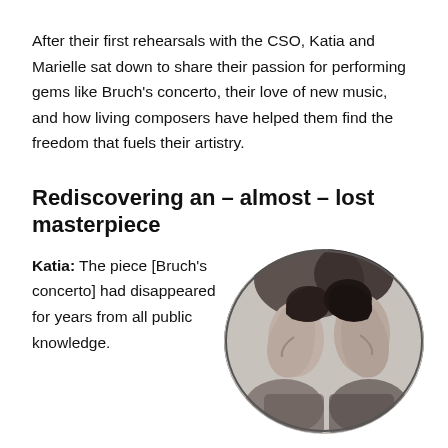After their first rehearsals with the CSO, Katia and Marielle sat down to share their passion for performing gems like Bruch's concerto, their love of new music, and how living composers have helped them find the freedom that fuels their artistry.
Rediscovering an – almost – lost masterpiece
Katia: The piece [Bruch's concerto] had disappeared for years from all public knowledge.
[Figure (photo): Black and white oval portrait photograph of two women (Katia and Marielle) shown in profile facing each other.]